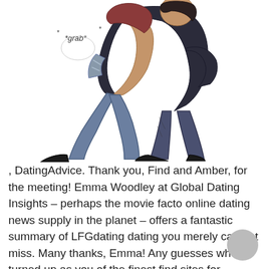[Figure (illustration): Cartoon/manga-style illustration of two characters embracing. One character is lifting the other. Text annotation '*grab*' with asterisks appears near the top left of the image.]
, DatingAdvice. Thank you, Find and Amber, for the meeting! Emma Woodley at Global Dating Insights – perhaps the movie facto online dating news supply in the planet – offers a fantastic summary of LFGdating dating you merely can not miss. Many thanks, Emma! Any guesses who turned up as you of the finest find sites for gamers? It is too bad they don't see we've iOS